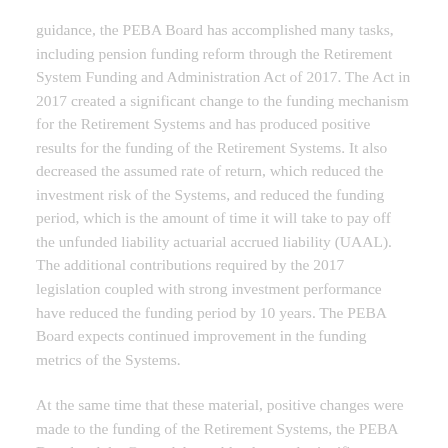guidance, the PEBA Board has accomplished many tasks, including pension funding reform through the Retirement System Funding and Administration Act of 2017. The Act in 2017 created a significant change to the funding mechanism for the Retirement Systems and has produced positive results for the funding of the Retirement Systems. It also decreased the assumed rate of return, which reduced the investment risk of the Systems, and reduced the funding period, which is the amount of time it will take to pay off the unfunded liability actuarial accrued liability (UAAL). The additional contributions required by the 2017 legislation coupled with strong investment performance have reduced the funding period by 10 years. The PEBA Board expects continued improvement in the funding metrics of the Systems.
At the same time that these material, positive changes were made to the funding of the Retirement Systems, the PEBA Board and the General Assembly also made significant